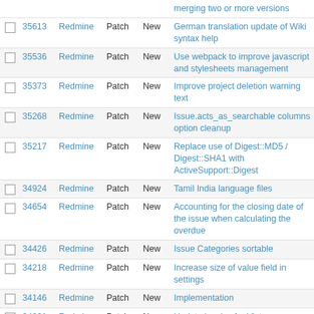|  | # | Project | Tracker | Status | Subject |
| --- | --- | --- | --- | --- | --- |
|  |  |  |  |  | merging two or more versions |
|  | 35613 | Redmine | Patch | New | German translation update of Wiki syntax help |
|  | 35536 | Redmine | Patch | New | Use webpack to improve javascript and stylesheets management |
|  | 35373 | Redmine | Patch | New | Improve project deletion warning text |
|  | 35268 | Redmine | Patch | New | Issue.acts_as_searchable columns option cleanup |
|  | 35217 | Redmine | Patch | New | Replace use of Digest::MD5 / Digest::SHA1 with ActiveSupport::Digest |
|  | 34924 | Redmine | Patch | New | Tamil India language files |
|  | 34654 | Redmine | Patch | New | Accounting for the closing date of the issue when calculating the overdue |
|  | 34426 | Redmine | Patch | New | Issue Categories sortable |
|  | 34218 | Redmine | Patch | New | Increase size of value field in settings |
|  | 34146 | Redmine | Patch | New | Implementation |
|  | 34061 | Redmine | Patch | New | Update locales for Vietnamese language |
|  | 33968 | Redmine | Patch | New | Incorrect Polish translations |
|  | 33938 | Redmine | Patch | New | Add missing fixtures to IssueNestedSetTest |
|  | 33910 | Redmine | Patch | New | Rendering bug in Chrome Windows and Linux when pressing PageUp in Textarea |
|  | 33774 | Redmine | Patch | New | Update Russian translation |
|  | 33726 | Redmine | Patch | New | Translate Vietnamese |
|  | 33638 | Redmine | Patch | New | Default value for Welcome text setting |